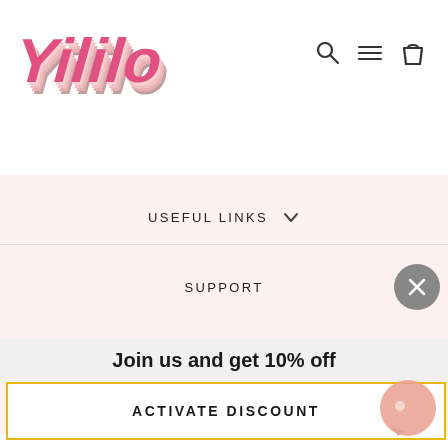[Figure (logo): Yililo brand logo in pink retro bubbly lettering with layered pink/coral/peach color stripes]
[Figure (other): Navigation icons: search (magnifying glass), menu (hamburger lines), and shopping bag]
USEFUL LINKS
SUPPORT
Join us and get 10% off
ACTIVATE DISCOUNT